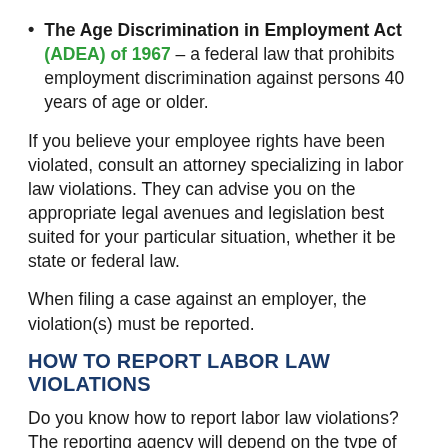The Age Discrimination in Employment Act (ADEA) of 1967 – a federal law that prohibits employment discrimination against persons 40 years of age or older.
If you believe your employee rights have been violated, consult an attorney specializing in labor law violations. They can advise you on the appropriate legal avenues and legislation best suited for your particular situation, whether it be state or federal law.
When filing a case against an employer, the violation(s) must be reported.
HOW TO REPORT LABOR LAW VIOLATIONS
Do you know how to report labor law violations? The reporting agency will depend on the type of labor law violation. For example, if your employer has neglected to pay overtime that you have lawfully worked, a complaint